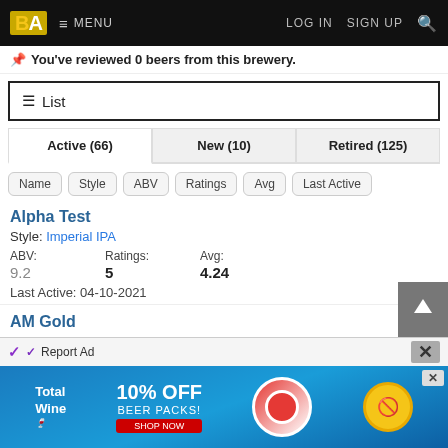BA MENU LOG IN SIGN UP
You've reviewed 0 beers from this brewery.
≡ List
Active (66) | New (10) | Retired (125)
Name
Style
ABV
Ratings
Avg
Last Active
Alpha Test
Style: Imperial IPA
ABV:
9.2
Ratings:
5
Avg:
4.24
Last Active: 04-10-2021
AM Gold
Style: Cream Ale
[Figure (screenshot): Total Wine advertisement banner showing 10% OFF BEER PACKS promotion with blue pool water background and decorative elements]
Report Ad